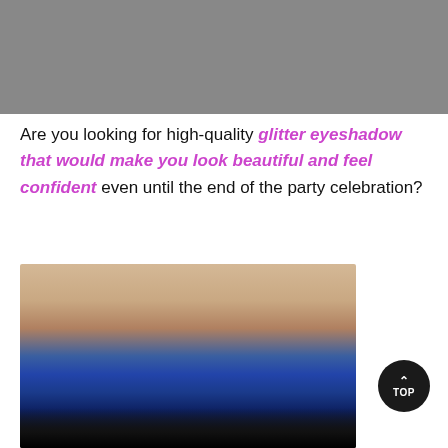[Figure (photo): Three product photos side by side showing women wearing glittery/sparkly tops — left: red floral top, center: gold glitter detail close-up, right: red/white tie-dye top]
Are you looking for high-quality glitter eyeshadow that would make you look beautiful and feel confident even until the end of the party celebration?
[Figure (photo): Close-up photo of an eye with bright blue glitter eyeshadow applied on the eyelid, showing detailed sparkle texture and eyelashes at bottom]